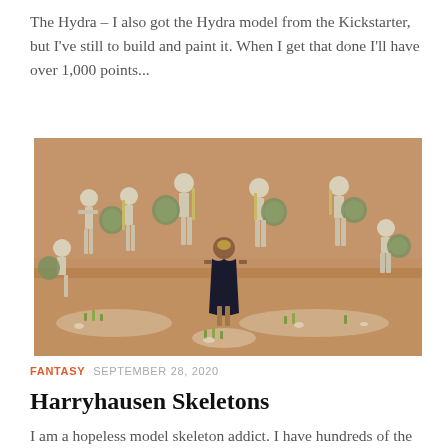The Hydra – I also got the Hydra model from the Kickstarter, but I've still to build and paint it. When I get that done I'll have over 1,000 points...
[Figure (photo): Painted miniature skeleton warriors holding round shields and weapons on scenic bases, with a human character figure in the center foreground, set against a sandy desert terrain backdrop.]
FANTASY  SEPTEMBER 28, 2020
Harryhausen Skeletons
I am a hopeless model skeleton addict. I have hundreds of the things and keep acquiring them, despite already having...